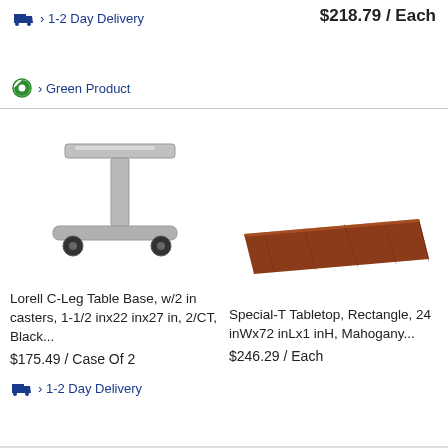$218.79 / Each
› 1-2 Day Delivery
› Green Product
[Figure (photo): Lorell C-Leg Table Base with 2 casters, silver/gray color, T-shaped base on wheels]
Lorell C-Leg Table Base, w/2 in casters, 1-1/2 inx22 inx27 in, 2/CT, Black...
$175.49 / Case Of 2
› 1-2 Day Delivery
[Figure (photo): Special-T Tabletop, rectangle shape, mahogany wood finish]
Special-T Tabletop, Rectangle, 24 inWx72 inLx1 inH, Mahogany...
$246.29 / Each